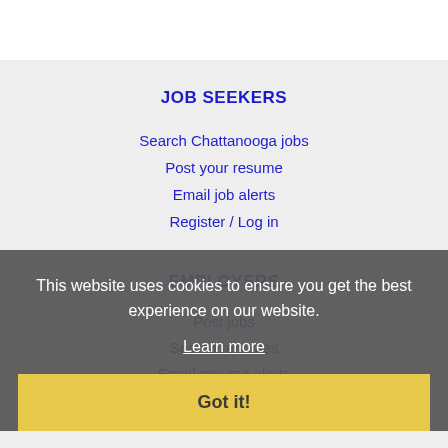JOB SEEKERS
Search Chattanooga jobs
Post your resume
Email job alerts
Register / Log in
EMPLOYERS
Post jobs
Search resumes
Email resume alerts
Advertise
This website uses cookies to ensure you get the best experience on our website.
Learn more
Got it!